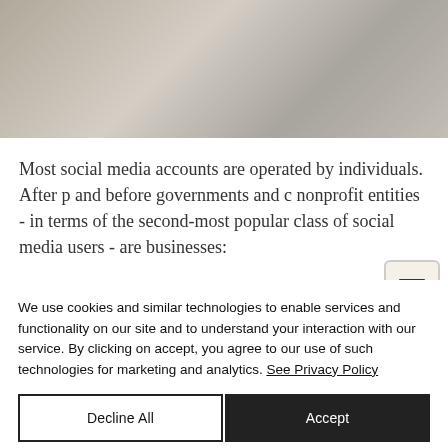[Figure (photo): Photo of a camera and a wristwatch on a light wooden surface, partially cropped at top]
Most social media accounts are operated by individuals. After p and before governments and c nonprofit entities - in terms of the second-most popular class of social media users - are businesses:
We use cookies and similar technologies to enable services and functionality on our site and to understand your interaction with our service. By clicking on accept, you agree to our use of such technologies for marketing and analytics. See Privacy Policy
Decline All
Accept
Cookie Settings